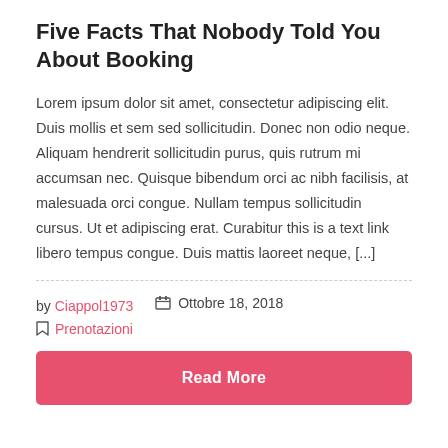Five Facts That Nobody Told You About Booking
Lorem ipsum dolor sit amet, consectetur adipiscing elit. Duis mollis et sem sed sollicitudin. Donec non odio neque. Aliquam hendrerit sollicitudin purus, quis rutrum mi accumsan nec. Quisque bibendum orci ac nibh facilisis, at malesuada orci congue. Nullam tempus sollicitudin cursus. Ut et adipiscing erat. Curabitur this is a text link libero tempus congue. Duis mattis laoreet neque, [...]
by Ciappol1973   Ottobre 18, 2018
Prenotazioni
Read More